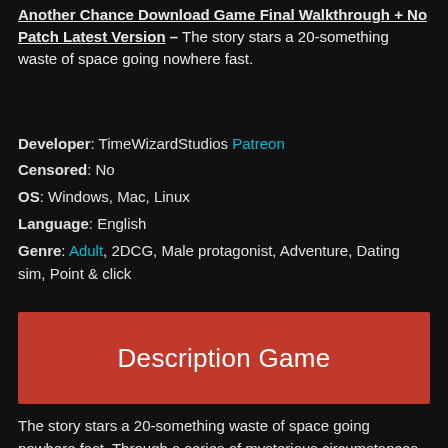Another Chance Download Game Final Walkthrough + No Patch Latest Version – The story stars a 20-something waste of space going nowhere fast.
Developer: TimeWizardStudios Patreon
Censored: No
OS: Windows, Mac, Linux
Language: English
Genre: Adult, 2DCG, Male protagonist, Adventure, Dating sim, Point & click
Description Game
The story stars a 20-something waste of space going nowhere fast. Through a series of mysterious circumstances, our protagonist is granted Another Chance at life!